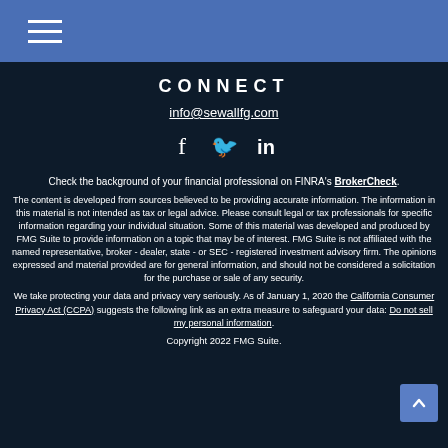≡ (hamburger menu)
CONNECT
info@sewallfg.com
[Figure (illustration): Social media icons: Facebook (f), Twitter (bird), LinkedIn (in)]
Check the background of your financial professional on FINRA's BrokerCheck.
The content is developed from sources believed to be providing accurate information. The information in this material is not intended as tax or legal advice. Please consult legal or tax professionals for specific information regarding your individual situation. Some of this material was developed and produced by FMG Suite to provide information on a topic that may be of interest. FMG Suite is not affiliated with the named representative, broker - dealer, state - or SEC - registered investment advisory firm. The opinions expressed and material provided are for general information, and should not be considered a solicitation for the purchase or sale of any security.
We take protecting your data and privacy very seriously. As of January 1, 2020 the California Consumer Privacy Act (CCPA) suggests the following link as an extra measure to safeguard your data: Do not sell my personal information.
Copyright 2022 FMG Suite.